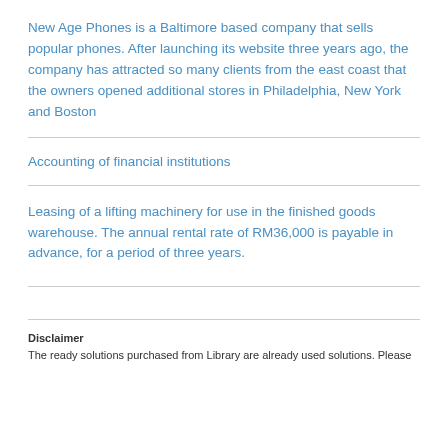New Age Phones is a Baltimore based company that sells popular phones. After launching its website three years ago, the company has attracted so many clients from the east coast that the owners opened additional stores in Philadelphia, New York and Boston
Accounting of financial institutions
Leasing of a lifting machinery for use in the finished goods warehouse. The annual rental rate of RM36,000 is payable in advance, for a period of three years.
Disclaimer
The ready solutions purchased from Library are already used solutions. Please